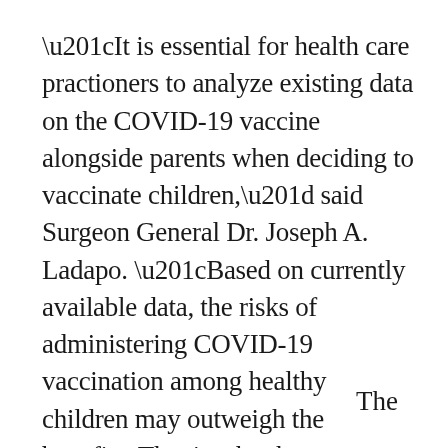“It is essential for health care practioners to analyze existing data on the COVID-19 vaccine alongside parents when deciding to vaccinate children,” said Surgeon General Dr. Joseph A. Ladapo. “Based on currently available data, the risks of administering COVID-19 vaccination among healthy children may outweigh the benefits. That is why these decisions should be made on an individual basis, and never mandated.”
The